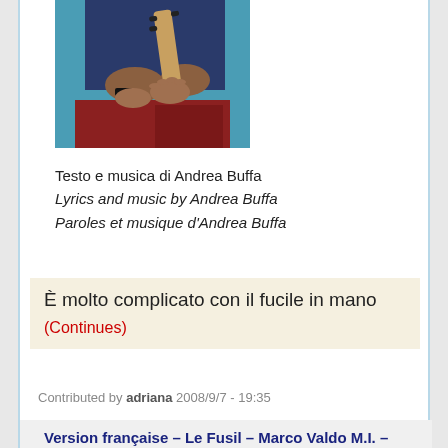[Figure (photo): Person playing guitar, hands visible holding guitar neck, wearing dark blue top and red/maroon pants, teal background]
Testo e musica di Andrea Buffa
Lyrics and music by Andrea Buffa
Paroles et musique d'Andrea Buffa
È molto complicato con il fucile in mano
(Continues)
Contributed by adriana 2008/9/7 - 19:35
Version française – Le Fusil – Marco Valdo M.I. – 2008
Chanson italienne – Il fucile – Andrea Buffa